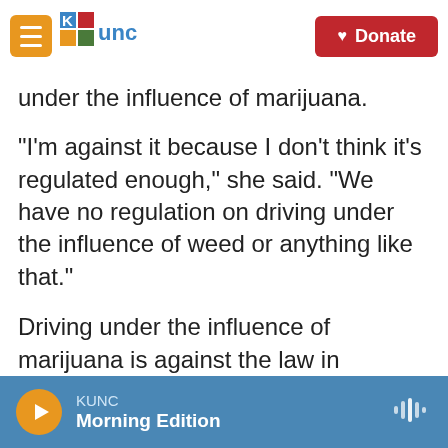[Figure (screenshot): KUNC radio website navigation bar with hamburger menu, KUNC logo, and red Donate button]
under the influence of marijuana.
“I’m against it because I don’t think it’s regulated enough,” she said. “We have no regulation on driving under the influence of weed or anything like that.”
Driving under the influence of marijuana is against the law in Colorado. But there are no tests that police officers can use in the field to verify whether a person is driving high. The Colorado Department of Transportation launched a public ad campaign aimed at raising awareness about the perils of driving while high.
KUNC Morning Edition